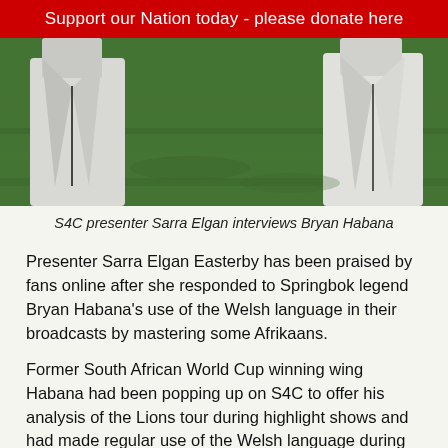Support our Nation today - please donate here
[Figure (photo): Two people in white jackets standing on a grass field, photographed from waist down]
S4C presenter Sarra Elgan interviews Bryan Habana
Presenter Sarra Elgan Easterby has been praised by fans online after she responded to Springbok legend Bryan Habana's use of the Welsh language in their broadcasts by mastering some Afrikaans.
Former South African World Cup winning wing Habana had been popping up on S4C to offer his analysis of the Lions tour during highlight shows and had made regular use of the Welsh language during his appearances.